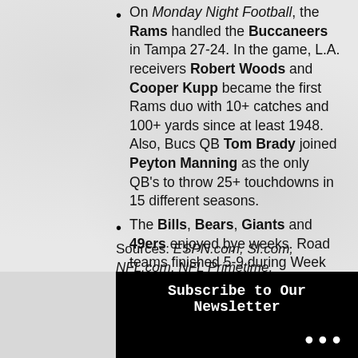On Monday Night Football, the Rams handled the Buccaneers in Tampa 27-24. In the game, L.A. receivers Robert Woods and Cooper Kupp became the first Rams duo with 10+ catches and 100+ yards since at least 1948. Also, Bucs QB Tom Brady joined Peyton Manning as the only QB's to throw 25+ touchdowns in 15 different seasons.
The Bills, Bears, Giants and 49ers enjoyed bye weeks. Road teams finished 5-9 during Week 11.
Sources: ESPN.com, SI.com, NFL.com, NFL Primetime, CBSSports.com, ProFootballTalk.com, YouTube.com, ProFootballReference.com, USAToday.com and various TV and radio broadcasts
Subscribe to Our Newsletter